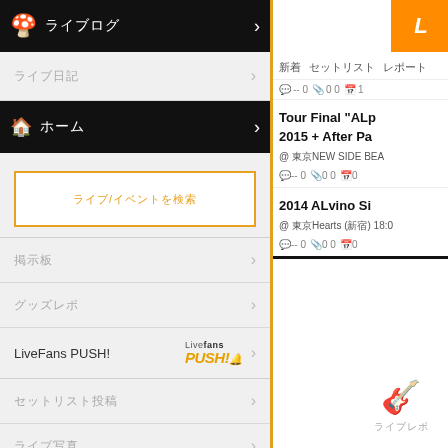ライブログ
ライブ日記
ホーム
ライブ/イベントを検索
掲示板
グッズレポ
LiveFans PUSH!
セットリスト投稿
ライブ写真
ライブ
Tour Final "ALp 2015 + After Pa
@ 東京NEW SIDE BEA
2014 ALvino Si
@ 東京Hearts (新宿) 18:0